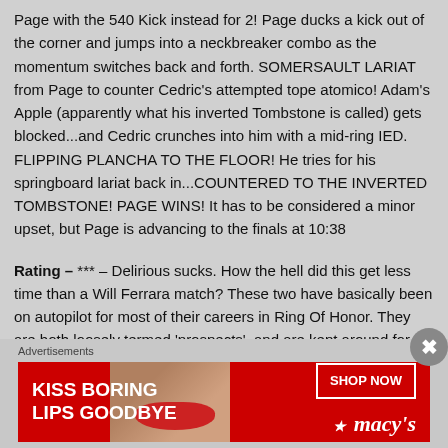Page with the 540 Kick instead for 2! Page ducks a kick out of the corner and jumps into a neckbreaker combo as the momentum switches back and forth. SOMERSAULT LARIAT from Page to counter Cedric's attempted tope atomico! Adam's Apple (apparently what his inverted Tombstone is called) gets blocked...and Cedric crunches into him with a mid-ring IED. FLIPPING PLANCHA TO THE FLOOR! He tries for his springboard lariat back in...COUNTERED TO THE INVERTED TOMBSTONE! PAGE WINS! It has to be considered a minor upset, but Page is advancing to the finals at 10:38
Rating – *** – Delirious sucks. How the hell did this get less time than a Will Ferrara match? These two have basically been on autopilot for most of their careers in Ring Of Honor. They are both loosely termed 'prospects', and are kept around for their ability to produce decent matches in most situations, but in truth they've never once really been able to cut loose, steal a show and make a name for themselves. Alexander's feud with Strong was exceptional, but even after winning its concluding match Cedric's career wasn't enhanced at all. Page's performances and character work have been rapidly improving for
Advertisements
[Figure (photo): Macy's advertisement: 'KISS BORING LIPS GOODBYE' with SHOP NOW button and Macy's logo, showing a woman's face with red lips on a red background]